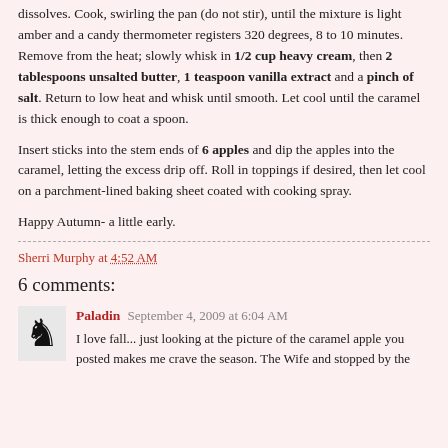dissolves. Cook, swirling the pan (do not stir), until the mixture is light amber and a candy thermometer registers 320 degrees, 8 to 10 minutes. Remove from the heat; slowly whisk in 1/2 cup heavy cream, then 2 tablespoons unsalted butter, 1 teaspoon vanilla extract and a pinch of salt. Return to low heat and whisk until smooth. Let cool until the caramel is thick enough to coat a spoon.
Insert sticks into the stem ends of 6 apples and dip the apples into the caramel, letting the excess drip off. Roll in toppings if desired, then let cool on a parchment-lined baking sheet coated with cooking spray.
Happy Autumn- a little early.
Sherri Murphy at 4:52 AM
6 comments:
Paladin September 4, 2009 at 6:04 AM
I love fall... just looking at the picture of the caramel apple you posted makes me crave the season. The Wife and stopped by the